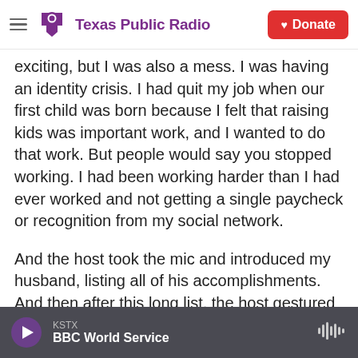Texas Public Radio | Donate
exciting, but I was also a mess. I was having an identity crisis. I had quit my job when our first child was born because I felt that raising kids was important work, and I wanted to do that work. But people would say you stopped working. I had been working harder than I had ever worked and not getting a single paycheck or recognition from my social network.
And the host took the mic and introduced my husband, listing all of his accomplishments. And then after this long list, the host gestured to me, a homemaker and mother of two. This was the first time that I found myself before the crowd
KSTX | BBC World Service